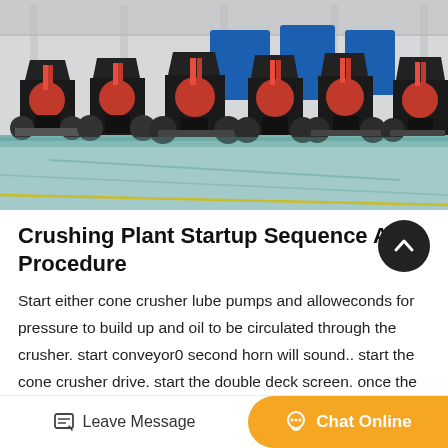[Figure (photo): Industrial factory floor showing multiple large cone crushers and industrial machinery lined up in a row, with blue equipment in the background and a green/teal painted concrete floor.]
Crushing Plant Startup Sequence Amp Procedure
Start either cone crusher lube pumps and alloweconds for pressure to build up and oil to be circulated through the crusher. start conveyor0 second horn will sound.. start the cone crusher drive. start the double deck screen. once the screen has been started,5...
Leave Message  Chat Online